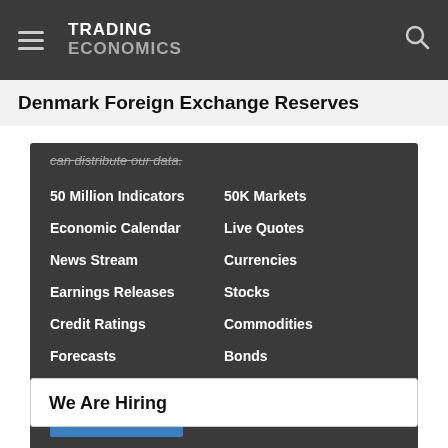TRADING ECONOMICS
Denmark Foreign Exchange Reserves
can distribute our data.
50 Million Indicators
Economic Calendar
News Stream
Earnings Releases
Credit Ratings
Forecasts
50K Markets
Live Quotes
Currencies
Stocks
Commodities
Bonds
Get Started
We Are Hiring